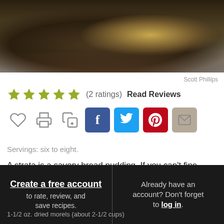[Figure (photo): Food photo showing a savory baked dish in a dark bowl, cropped at top]
Scott Phillips
★★★★★ (2 ratings) Read Reviews
[Figure (infographic): Row of social sharing icons: heart, print, save, Facebook, Twitter, Pinterest, email]
Servings: six to eight.
A strata is a savory bread pudding. If you can't fine morels, substitute porcini or another mushroom.
Create a free account to rate, review, and save recipes.
Already have an account? Don't forget to log in.
1-1/2 oz. dried morels (about 2-1/2 cups)